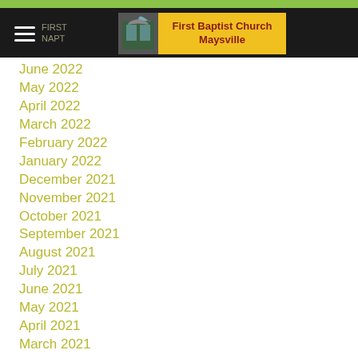First Baptist Church Maysville
June 2022
May 2022
April 2022
March 2022
February 2022
January 2022
December 2021
November 2021
October 2021
September 2021
August 2021
July 2021
June 2021
May 2021
April 2021
March 2021